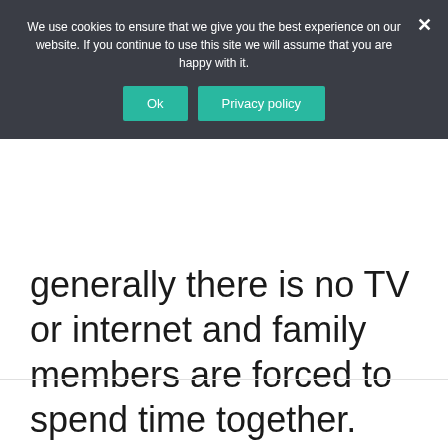We use cookies to ensure that we give you the best experience on our website. If you continue to use this site we will assume that you are happy with it.
Ok  Privacy policy
generally there is no TV or internet and family members are forced to spend time together.